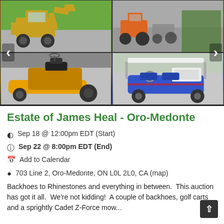[Figure (photo): Four-panel photo grid showing outdoor equipment: top-left shows a yellow loader/tractor on grass, top-right shows farm equipment/tractors in a yard, bottom-left shows a yellow zero-turn riding mower (Cub Cadet Z-Force) on pavement, bottom-right shows a blue golf cart with white cooler on back.]
Estate of James Heal - Oro-Medonte
Sep 18 @ 12:00pm EDT (Start)
Sep 22 @ 8:00pm EDT (End)
Add to Calendar
703 Line 2, Oro-Medonte, ON L0L 2L0, CA (map)
Backhoes to Rhinestones and everything in between.  This auction has got it all.  We're not kidding!  A couple of backhoes, golf carts and a sprightly Cadet Z-Force mow... start off this auction.  It then moves into the workshop...